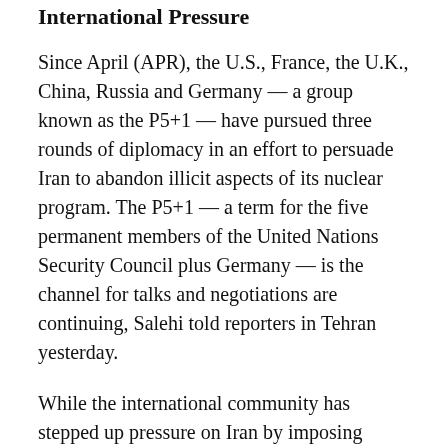International Pressure
Since April (APR), the U.S., France, the U.K., China, Russia and Germany — a group known as the P5+1 — have pursued three rounds of diplomacy in an effort to persuade Iran to abandon illicit aspects of its nuclear program. The P5+1 — a term for the five permanent members of the United Nations Security Council plus Germany — is the channel for talks and negotiations are continuing, Salehi told reporters in Tehran yesterday.
While the international community has stepped up pressure on Iran by imposing dozens of financial and oil sanctions this year, the talks have so far failed to achieve a settlement.